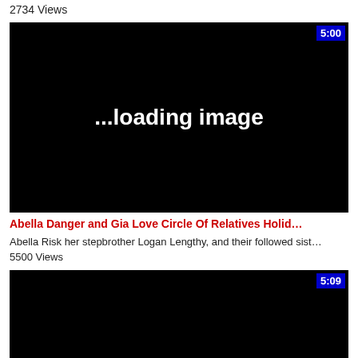2734 Views
[Figure (screenshot): Video thumbnail showing black screen with white bold text '...loading image' and blue duration badge '5:00' in top right corner]
Abella Danger and Gia Love Circle Of Relatives Holid…
Abella Risk her stepbrother Logan Lengthy, and their followed sist…
5500 Views
[Figure (screenshot): Video thumbnail showing black screen with blue duration badge '5:09' in top right corner]